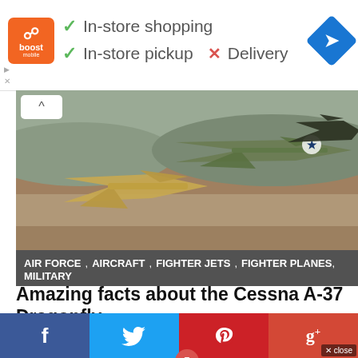[Figure (infographic): Ad banner for Boost with orange logo, checkmarks for In-store shopping and In-store pickup, red X for Delivery, blue navigation arrow icon]
[Figure (photo): Fighter jets on a runway, military aircraft including what appears to be A-37 Dragonfly type aircraft]
AIR FORCE , AIRCRAFT , FIGHTER JETS , FIGHTER PLANES , MILITARY
Amazing facts about the Cessna A-37 Dragonfly
[Figure (photo): C-17 Globemaster III large military transport aircraft on runway with badge showing number 5]
f  [twitter bird]  [pinterest]  g+ close